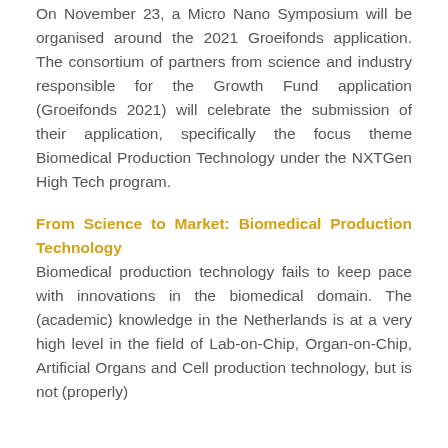On November 23, a Micro Nano Symposium will be organised around the 2021 Groeifonds application. The consortium of partners from science and industry responsible for the Growth Fund application (Groeifonds 2021) will celebrate the submission of their application, specifically the focus theme Biomedical Production Technology under the NXTGen High Tech program.
From Science to Market: Biomedical Production Technology
Biomedical production technology fails to keep pace with innovations in the biomedical domain. The (academic) knowledge in the Netherlands is at a very high level in the field of Lab-on-Chip, Organ-on-Chip, Artificial Organs and Cell production technology, but is not (properly)